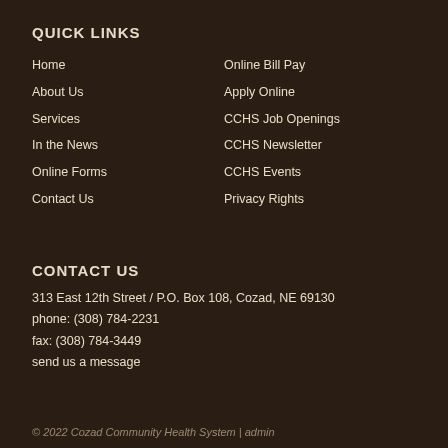QUICK LINKS
Home
Online Bill Pay
About Us
Apply Online
Services
CCHS Job Openings
In the News
CCHS Newsletter
Online Forms
CCHS Events
Contact Us
Privacy Rights
CONTACT US
313 East 12th Street / P.O. Box 108, Cozad, NE 69130
phone: (308) 784-2231
fax: (308) 784-3449
send us a message
© 2022 Cozad Community Health System  |  admin